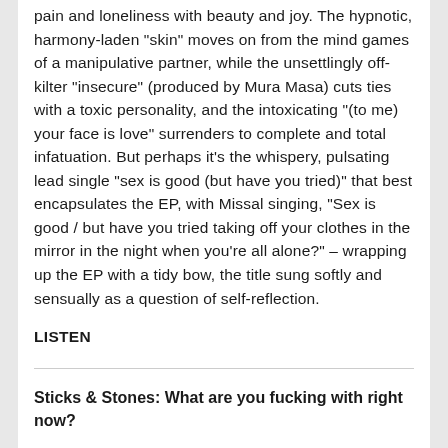pain and loneliness with beauty and joy. The hypnotic, harmony-laden “skin” moves on from the mind games of a manipulative partner, while the unsettlingly off-kilter “insecure” (produced by Mura Masa) cuts ties with a toxic personality, and the intoxicating “(to me) your face is love” surrenders to complete and total infatuation. But perhaps it’s the whispery, pulsating lead single “sex is good (but have you tried)” that best encapsulates the EP, with Missal singing, “Sex is good / but have you tried taking off your clothes in the mirror in the night when you’re all alone?” – wrapping up the EP with a tidy bow, the title sung softly and sensually as a question of self-reflection.
LISTEN
Sticks & Stones: What are you fucking with right now?